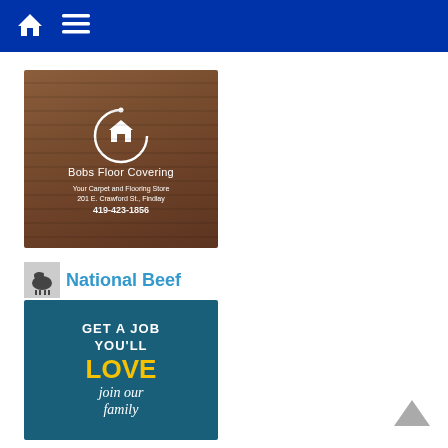Navigation header with home icon and menu icon
[Figure (logo): Bob's Floor Covering advertisement: wood-paneled background with a circular logo featuring a house icon, text reading 'Bobs Floor Covering', 'Your Carpet and Flooring Store', '201 E. Crawford St., Findlay', '419-423-1856']
[Figure (logo): National Beef logo: small square image of a cow next to bold blue text 'National Beef']
[Figure (illustration): National Beef advertisement with teal/blue background: 'GET A JOB YOU'LL LOVE' in white and yellow text, 'join our family' in white italic script]
[Figure (other): Back to top chevron arrow icon in grey]